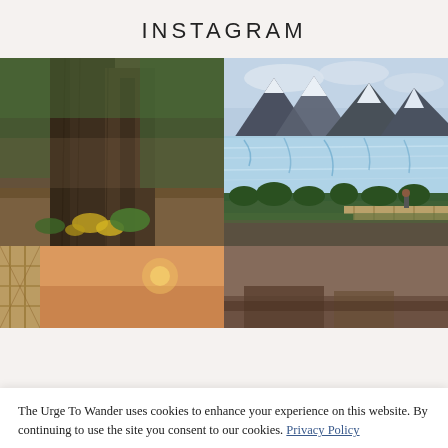INSTAGRAM
[Figure (photo): Large tree trunks in a tropical forest with green plants and fallen leaves on the ground]
[Figure (photo): Perito Moreno glacier with snow-capped mountains in the background and a viewing platform with a person standing on it]
[Figure (photo): Partial view of a building exterior with lattice and warm sunset tones, partially obscured]
[Figure (photo): Partial view of an interior or outdoor scene, partially obscured by cookie banner]
The Urge To Wander uses cookies to enhance your experience on this website. By continuing to use the site you consent to our cookies. Privacy Policy
OK